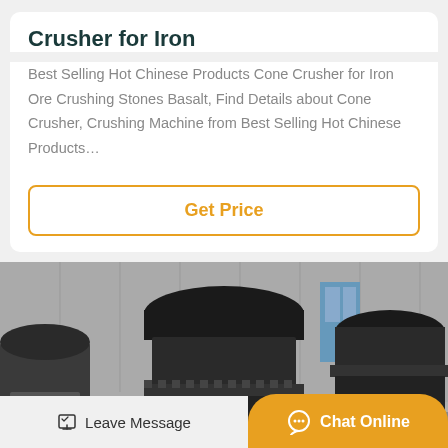Crusher for Iron
Best Selling Hot Chinese Products Cone Crusher for Iron Ore Crushing Stones Basalt, Find Details about Cone Crusher, Crushing Machine from Best Selling Hot Chinese Products…
Get Price
[Figure (photo): Industrial cone crushers in a factory/warehouse setting. Large black metal cone crusher machines with springs and mechanical components visible. Multiple units lined up in an industrial facility.]
Leave Message
Chat Online